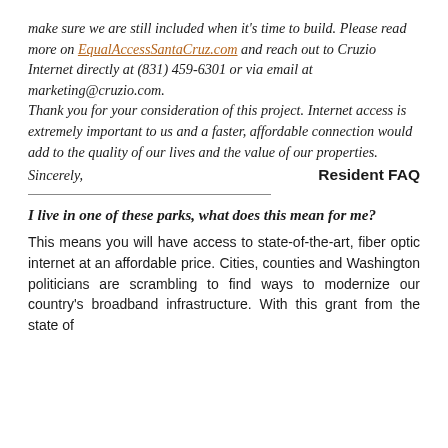make sure we are still included when it's time to build. Please read more on EqualAccessSantaCruz.com and reach out to Cruzio Internet directly at (831) 459-6301 or via email at marketing@cruzio.com. Thank you for your consideration of this project. Internet access is extremely important to us and a faster, affordable connection would add to the quality of our lives and the value of our properties.
Sincerely,
Resident FAQ
I live in one of these parks, what does this mean for me?
This means you will have access to state-of-the-art, fiber optic internet at an affordable price. Cities, counties and Washington politicians are scrambling to find ways to modernize our country's broadband infrastructure. With this grant from the state of